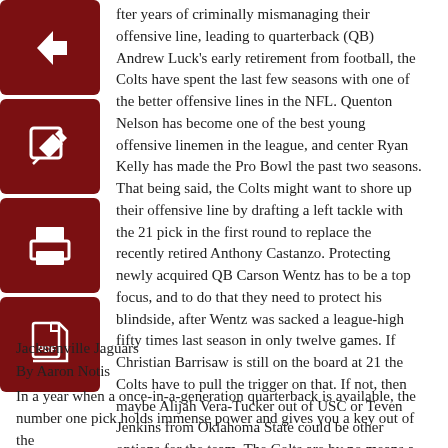After years of criminally mismanaging their offensive line, leading to quarterback (QB) Andrew Luck's early retirement from football, the Colts have spent the last few seasons with one of the better offensive lines in the NFL. Quenton Nelson has become one of the best young offensive linemen in the league, and center Ryan Kelly has made the Pro Bowl the past two seasons.  That being said, the Colts might want to shore up their offensive line by drafting a left tackle with the 21 pick in the first round to replace the recently retired Anthony Castanzo. Protecting newly acquired QB Carson Wentz has to be a top focus, and to do that they need to protect his blindside, after Wentz was sacked a league-high fifty times last season in only twelve games. If Christian Barrisaw is still on the board at 21 the Colts have to pull the trigger on that. If not, then maybe Alijah Vera-Tucker out of USC or Teven Jenkins from Oklahoma State could be other options for the team. The Colts are by no means a complete team, and later in the draft they might want to look at getting some receiver help for Wentz and some edge rushers to bolster the defense but getting Wentz some extra protections is key for his success in Indianapolis.
Jacksonville Jaguars
By Aaron Notis
In a year when a once-in-a-generation quarterback is available, the number one pick holds immense power and gives you a key out of the